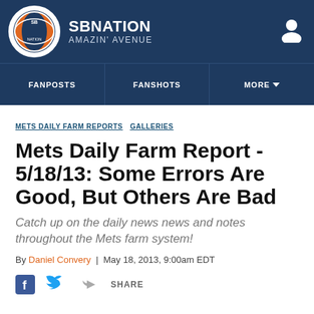SB NATION | AMAZIN' AVENUE
FANPOSTS | FANSHOTS | MORE
METS DAILY FARM REPORTS   GALLERIES
Mets Daily Farm Report - 5/18/13: Some Errors Are Good, But Others Are Bad
Catch up on the daily news news and notes throughout the Mets farm system!
By Daniel Convery | May 18, 2013, 9:00am EDT
SHARE